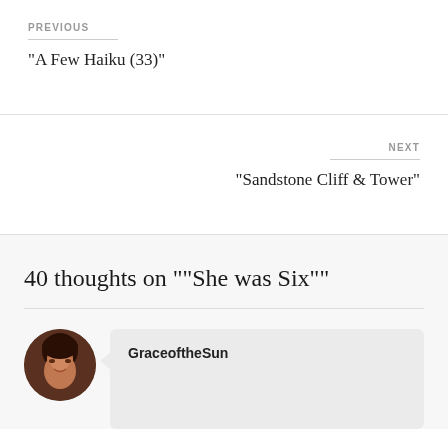PREVIOUS
“A Few Haiku (33)”
NEXT
“Sandstone Cliff & Tower”
40 thoughts on ““She was Six””
GraceoftheSun